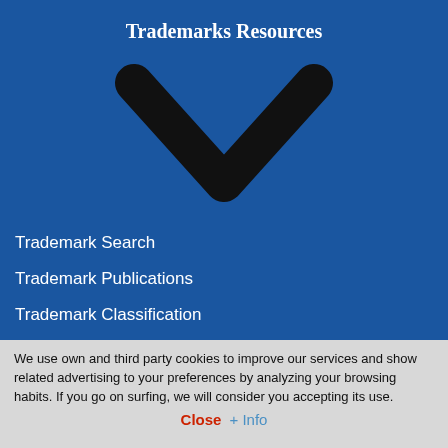Trademarks Resources
[Figure (illustration): A large downward chevron (V-shape) in black on a blue background, indicating a dropdown menu]
Trademark Search
Trademark Publications
Trademark Classification
Trademark Articles
We use own and third party cookies to improve our services and show related advertising to your preferences by analyzing your browsing habits. If you go on surfing, we will consider you accepting its use.
Close  + Info